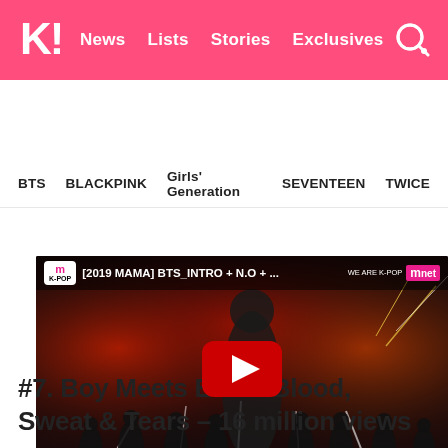K! News  Lists  Stories  Exclusives
BTS  BLACKPINK  Girls' Generation  SEVENTEEN  TWICE
[Figure (screenshot): YouTube video thumbnail showing BTS performing at 2019 MAMA awards. Mnet K-POP channel. Title: [2019 MAMA] BTS_INTRO + N.O + ... with red YouTube play button in center. Bottom shows Mnet logo.]
#7. Boy Meets Evil & Blood, Sweat & Tears – 16 million views